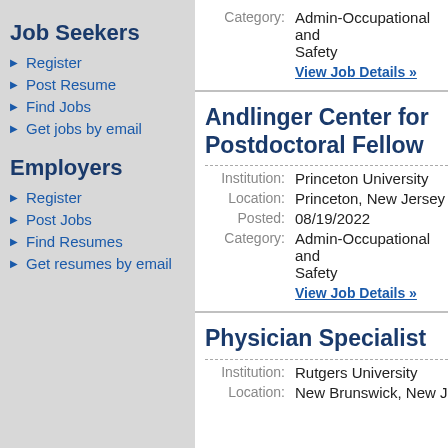Job Seekers
Register
Post Resume
Find Jobs
Get jobs by email
Employers
Register
Post Jobs
Find Resumes
Get resumes by email
Category: Admin-Occupational and Safety
View Job Details »
Andlinger Center for... Postdoctoral Fellow...
Institution: Princeton University
Location: Princeton, New Jersey
Posted: 08/19/2022
Category: Admin-Occupational and Safety
View Job Details »
Physician Specialist...
Institution: Rutgers University
Location: New Brunswick, New J...